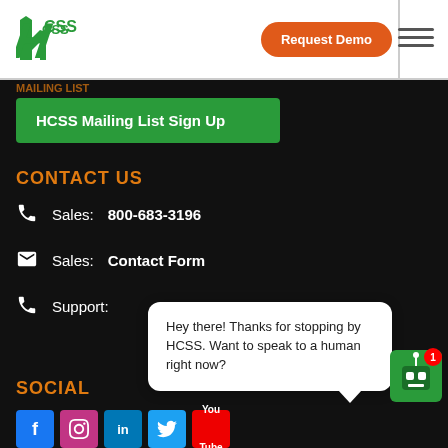[Figure (logo): HCSS logo with stylized H and CSS letters in green]
Request Demo
HCSS Mailing List Sign Up
CONTACT US
Sales: 800-683-3196
Sales: Contact Form
Support:
Hey there! Thanks for stopping by HCSS. Want to speak to a human right now?
SOCIAL
[Figure (other): Social media icons row: Facebook, Instagram, LinkedIn, Twitter, YouTube]